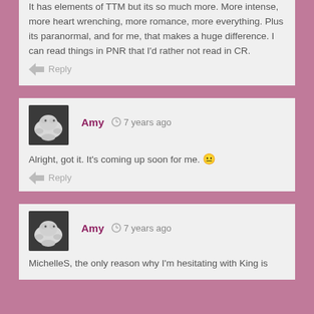It has elements of TTM but its so much more. More intense, more heart wrenching, more romance, more everything. Plus its paranormal, and for me, that makes a huge difference. I can read things in PNR that I'd rather not read in CR.
Reply
Amy  7 years ago
Alright, got it. It's coming up soon for me. 😅
Reply
Amy  7 years ago
MichelleS, the only reason why I'm hesitating with King is